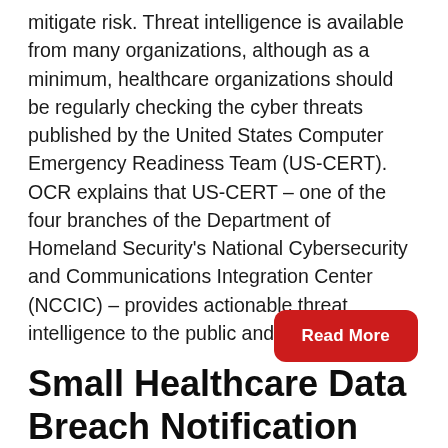mitigate risk. Threat intelligence is available from many organizations, although as a minimum, healthcare organizations should be regularly checking the cyber threats published by the United States Computer Emergency Readiness Team (US-CERT). OCR explains that US-CERT – one of the four branches of the Department of Homeland Security's National Cybersecurity and Communications Integration Center (NCCIC) – provides actionable threat intelligence to the public and private...
Read More
Small Healthcare Data Breach Notification